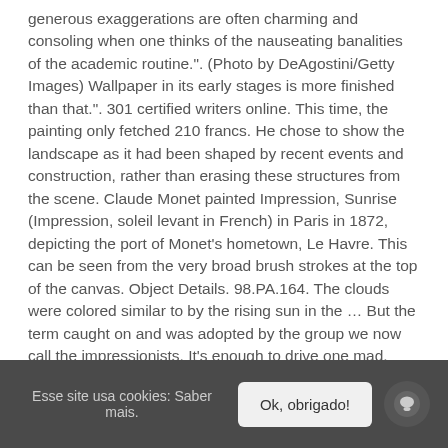generous exaggerations are often charming and consoling when one thinks of the nauseating banalities of the academic routine.". (Photo by DeAgostini/Getty Images) Wallpaper in its early stages is more finished than that.". 301 certified writers online. This time, the painting only fetched 210 francs. He chose to show the landscape as it had been shaped by recent events and construction, rather than erasing these structures from the scene. Claude Monet painted Impression, Sunrise (Impression, soleil levant in French) in Paris in 1872, depicting the port of Monet's hometown, Le Havre. This can be seen from the very broad brush strokes at the top of the canvas. Object Details. 98.PA.164. The clouds were colored similar to by the rising sun in the … But the term caught on and was adopted by the group we now call the impressionists. It's enough to drive one mad. Monet visited his hometown of Le Havre in the Northwest of France in 1872 and proceeded to create a series of works depicting the port of Le Havre. As we explain on our top 10 impressionism thefts page, Impression: Sunrise was stolen at gunpoint from the Musee Marmottan Monet in 1985 and not recovered for five years. Claude Monet's Impression: Sunrise, painted in November 1872 when Monet was 32, is one of the most famous and important impressionist works. The painting is now
Esse site usa cookies: Saber mais.   Ok, obrigado!